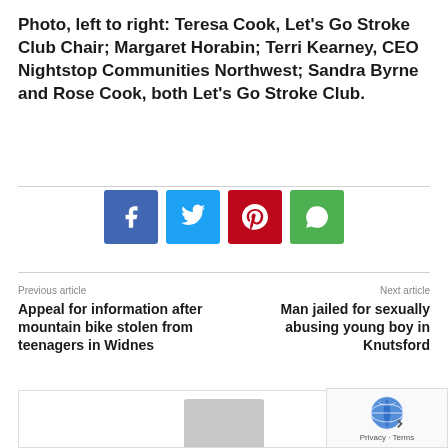Photo, left to right: Teresa Cook, Let's Go Stroke Club Chair;  Margaret Horabin; Terri Kearney, CEO Nightstop Communities Northwest; Sandra Byrne and Rose Cook, both Let's Go Stroke Club.
[Figure (infographic): Social media share buttons: Facebook (blue), Twitter (sky blue), Pinterest (red), WhatsApp (green)]
Previous article
Appeal for information after mountain bike stolen from teenagers in Widnes
Next article
Man jailed for sexually abusing young boy in Knutsford
[Figure (photo): Avatar/profile image placeholder area at bottom of page]